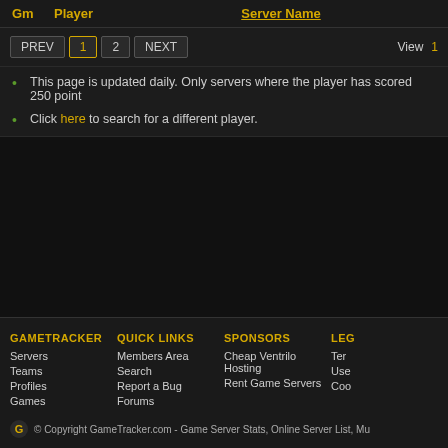| Gm | Player | Server Name |
| --- | --- | --- |
PREV 1 2 NEXT   View 1
This page is updated daily. Only servers where the player has scored 250 point
Click here to search for a different player.
GAMETRACKER | QUICK LINKS | SPONSORS | LEG... | Servers | Members Area | Cheap Ventrilo Hosting | Ter... | Teams | Search | Rent Game Servers | Use... | Profiles | Report a Bug | Coo... | Games | Forums | © Copyright GameTracker.com - Game Server Stats, Online Server List, Mu...